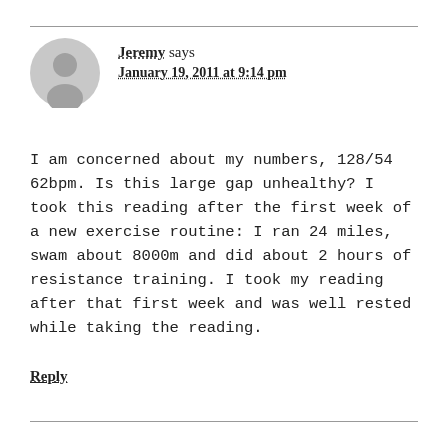[Figure (illustration): Generic user avatar icon — grey silhouette of a person on a light grey circle]
Jeremy says
January 19, 2011 at 9:14 pm
I am concerned about my numbers, 128/54 62bpm. Is this large gap unhealthy? I took this reading after the first week of a new exercise routine: I ran 24 miles, swam about 8000m and did about 2 hours of resistance training. I took my reading after that first week and was well rested while taking the reading.
Reply